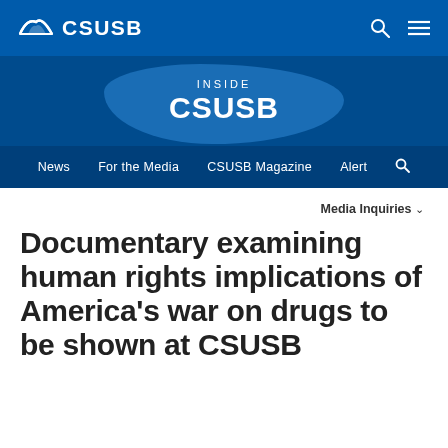[Figure (logo): CSUSB logo with mountain icon and text CSUSB in white on blue background]
INSIDE CSUSB
News  For the Media  CSUSB Magazine  Alert
Media Inquiries ∨
Documentary examining human rights implications of America's war on drugs to be shown at CSUSB